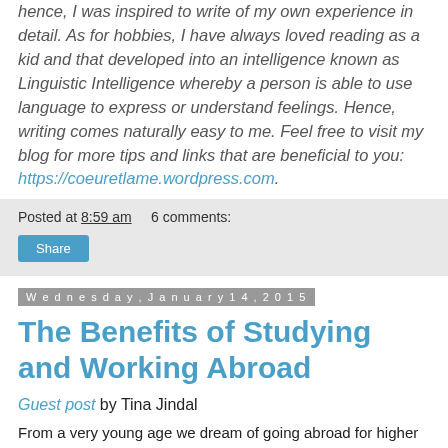hence, I was inspired to write of my own experience in detail. As for hobbies, I have always loved reading as a kid and that developed into an intelligence known as Linguistic Intelligence whereby a person is able to use language to express or understand feelings. Hence, writing comes naturally easy to me. Feel free to visit my blog for more tips and links that are beneficial to you: https://coeuretlame.wordpress.com.
Posted at 8:59 am    6 comments:
Share
Wednesday, January 14, 2015
The Benefits of Studying and Working Abroad
Guest post by Tina Jindal
From a very young age we dream of going abroad for higher studies. The allure of a foreign degree stems from the one